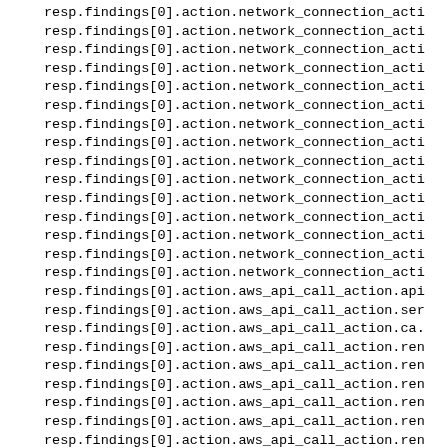resp.findings[0].action.network_connection_acti
resp.findings[0].action.network_connection_acti
resp.findings[0].action.network_connection_acti
resp.findings[0].action.network_connection_acti
resp.findings[0].action.network_connection_acti
resp.findings[0].action.network_connection_acti
resp.findings[0].action.network_connection_acti
resp.findings[0].action.network_connection_acti
resp.findings[0].action.network_connection_acti
resp.findings[0].action.network_connection_acti
resp.findings[0].action.network_connection_acti
resp.findings[0].action.network_connection_acti
resp.findings[0].action.network_connection_acti
resp.findings[0].action.network_connection_acti
resp.findings[0].action.network_connection_acti
resp.findings[0].action.aws_api_call_action.api
resp.findings[0].action.aws_api_call_action.ser
resp.findings[0].action.aws_api_call_action.ca.
resp.findings[0].action.aws_api_call_action.ren
resp.findings[0].action.aws_api_call_action.ren
resp.findings[0].action.aws_api_call_action.ren
resp.findings[0].action.aws_api_call_action.ren
resp.findings[0].action.aws_api_call_action.ren
resp.findings[0].action.aws_api_call_action.ren
resp.findings[0].action.aws_api_call_action.ren